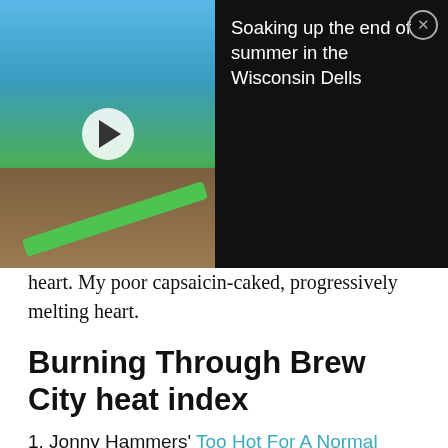[Figure (screenshot): Video thumbnail overlay showing a waterpark with green slides and a lodge building, with a play button. Adjacent black panel shows title text and a close button.]
heart. My poor capsaicin-caked, progressively melting heart.
Burning Through Brew City heat index
1. Jonny Hammers' Too Hot For A Normal Person wings
2. Leff's Lucky Town's ass kickin' chicken wings
3. Asian International Market's papaya salad
4. Cantina's tacos
5. Hot Head Fried Chicken's 414 Fire fried chicken